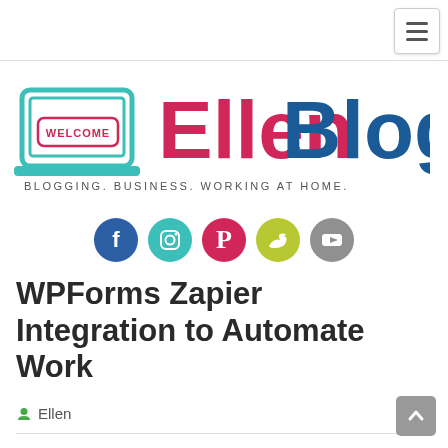[Figure (logo): EllenBlogs logo with laptop icon, WELCOME speech bubble, pink Ellen text, blue Blogs text, and tagline BLOGGING. BUSINESS. WORKING AT HOME.]
[Figure (infographic): Row of five social media icons: Facebook (dark blue), Instagram (teal), Pinterest (pink), Twitter (yellow-green), YouTube (gray)]
WPForms Zapier Integration to Automate Work
Ellen